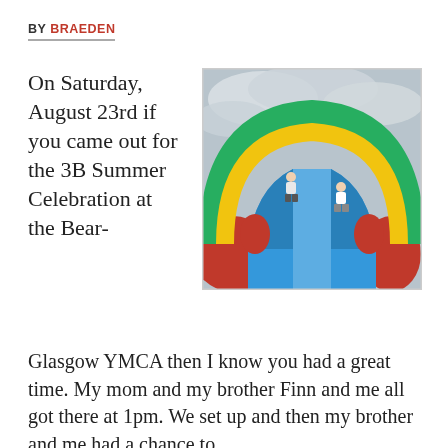BY BRAEDEN
On Saturday, August 23rd if you came out for the 3B Summer Celebration at the Bear-
[Figure (photo): Two children sliding down a large colorful inflatable water slide with green, yellow, and red arched top and blue sliding surface, against a cloudy sky.]
Glasgow YMCA then I know you had a great time. My mom and my brother Finn and me all got there at 1pm. We set up and then my brother and me had a chance to